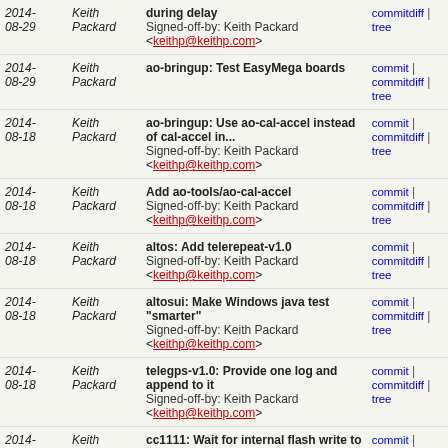| Date | Author | Message | Links |
| --- | --- | --- | --- |
| 2014-08-29 | Keith Packard | during delay
Signed-off-by: Keith Packard <keithp@keithp.com> | commit | commitdiff | tree |
| 2014-08-29 | Keith Packard | ao-bringup: Test EasyMega boards | commit | commitdiff | tree |
| 2014-08-18 | Keith Packard | ao-bringup: Use ao-cal-accel instead of cal-accel in...
Signed-off-by: Keith Packard <keithp@keithp.com> | commit | commitdiff | tree |
| 2014-08-18 | Keith Packard | Add ao-tools/ao-cal-accel
Signed-off-by: Keith Packard <keithp@keithp.com> | commit | commitdiff | tree |
| 2014-08-18 | Keith Packard | altos: Add telerepeat-v1.0
Signed-off-by: Keith Packard <keithp@keithp.com> | commit | commitdiff | tree |
| 2014-08-18 | Keith Packard | altosui: Make Windows java test "smarter"
Signed-off-by: Keith Packard <keithp@keithp.com> | commit | commitdiff | tree |
| 2014-08-18 | Keith Packard | telegps-v1.0: Provide one log and append to it
Signed-off-by: Keith Packard <keithp@keithp.com> | commit | commitdiff | tree |
| 2014-08-18 | Keith Packard | cc1111: Wait for internal flash write to complete
Signed-off-by: Keith Packard <keithp@keithp.com> | commit | commitdiff | tree |
| 2014- | Keith | Use -ldl when testing whether -m32 ... | commit | |